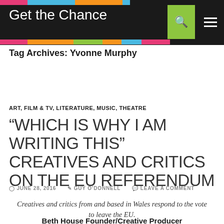[Figure (logo): Get the Chance website header with logo text and colorful bar accents on dark background, search and menu icons]
Tag Archives: Yvonne Murphy
ART, FILM & TV, LITERATURE, MUSIC, THEATRE
“WHICH IS WHY I AM WRITING THIS” CREATIVES AND CRITICS ON THE EU REFERENDUM
© JUNE 28, 2016  ¤ GUY O’DONNELL  ◎ LEAVE A COMMENT
Creatives and critics from and based in Wales respond to the vote to leave the EU.
Beth House Founder/Creative Producer